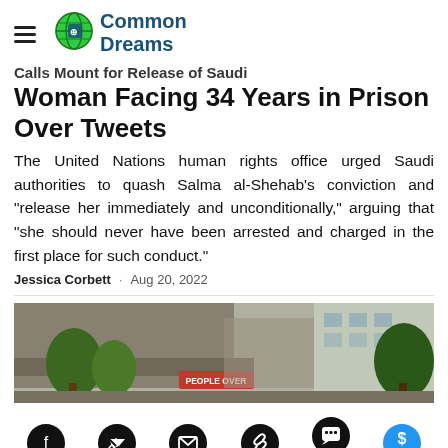Common Dreams
Calls Mount for Release of Saudi Woman Facing 34 Years in Prison Over Tweets
The United Nations human rights office urged Saudi authorities to quash Salma al-Shehab's conviction and "release her immediately and unconditionally," arguing that "she should never have been arrested and charged in the first place for such conduct."
Jessica Corbett · Aug 20, 2022
[Figure (photo): Outdoor protest scene with buildings, trees, and a red sign reading PEOPLE OVER in the background]
[Figure (infographic): Social share bar with Facebook, Twitter, email, link, comment (9), and Give icons]